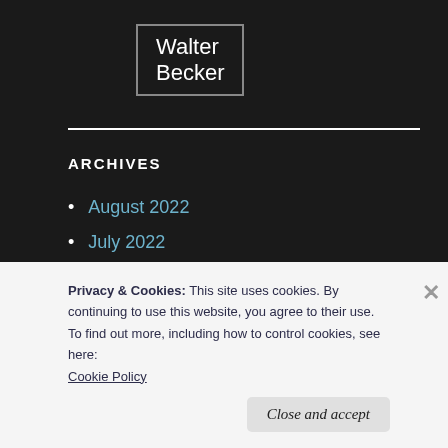Walter Becker
ARCHIVES
August 2022
July 2022
June 2022
May 2022
Privacy & Cookies: This site uses cookies. By continuing to use this website, you agree to their use.
To find out more, including how to control cookies, see here:
Cookie Policy
Close and accept